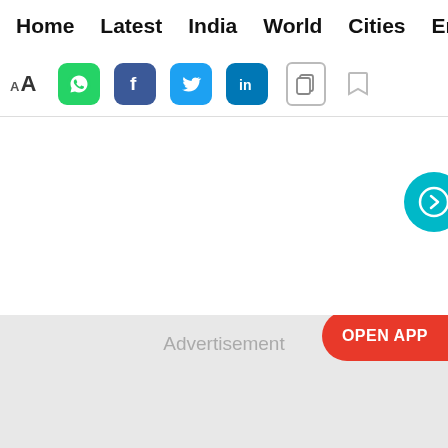Home  Latest  India  World  Cities  Entertainment
[Figure (screenshot): Toolbar row with font size toggle (AA), WhatsApp, Facebook, Twitter, LinkedIn share buttons, copy and bookmark icons]
[Figure (screenshot): White content area with a teal circular arrow button partially visible on the right edge]
Advertisement
OPEN APP